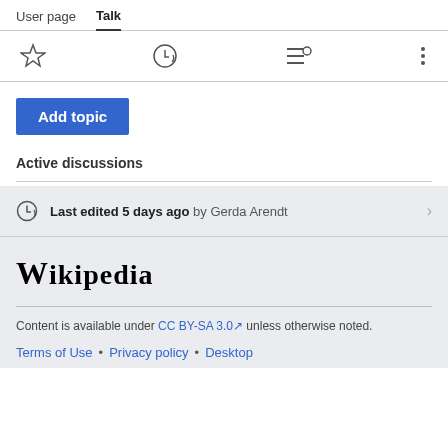User page  Talk
Add topic
Active discussions
Last edited 5 days ago by Gerda Arendt
Wikipedia
Content is available under CC BY-SA 3.0 unless otherwise noted.
Terms of Use • Privacy policy • Desktop